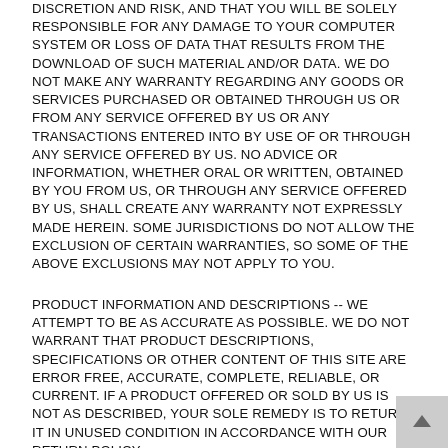DISCRETION AND RISK, AND THAT YOU WILL BE SOLELY RESPONSIBLE FOR ANY DAMAGE TO YOUR COMPUTER SYSTEM OR LOSS OF DATA THAT RESULTS FROM THE DOWNLOAD OF SUCH MATERIAL AND/OR DATA. WE DO NOT MAKE ANY WARRANTY REGARDING ANY GOODS OR SERVICES PURCHASED OR OBTAINED THROUGH US OR FROM ANY SERVICE OFFERED BY US OR ANY TRANSACTIONS ENTERED INTO BY USE OF OR THROUGH ANY SERVICE OFFERED BY US. NO ADVICE OR INFORMATION, WHETHER ORAL OR WRITTEN, OBTAINED BY YOU FROM US, OR THROUGH ANY SERVICE OFFERED BY US, SHALL CREATE ANY WARRANTY NOT EXPRESSLY MADE HEREIN. SOME JURISDICTIONS DO NOT ALLOW THE EXCLUSION OF CERTAIN WARRANTIES, SO SOME OF THE ABOVE EXCLUSIONS MAY NOT APPLY TO YOU.
PRODUCT INFORMATION AND DESCRIPTIONS -- WE ATTEMPT TO BE AS ACCURATE AS POSSIBLE. WE DO NOT WARRANT THAT PRODUCT DESCRIPTIONS, SPECIFICATIONS OR OTHER CONTENT OF THIS SITE ARE ERROR FREE, ACCURATE, COMPLETE, RELIABLE, OR CURRENT. IF A PRODUCT OFFERED OR SOLD BY US IS NOT AS DESCRIBED, YOUR SOLE REMEDY IS TO RETURN IT IN UNUSED CONDITION IN ACCORDANCE WITH OUR RETURN POLICY.